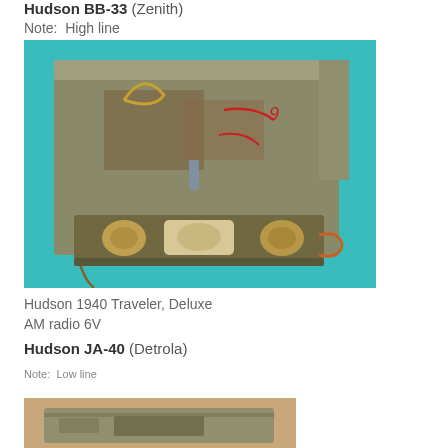Hudson BB-33 (Zenith)
Note:  High line
[Figure (photo): Photo of a Hudson 1940 Traveler Deluxe AM radio 6V unit, showing metal chassis with components, against a teal/cyan background]
Hudson 1940 Traveler, Deluxe
AM radio 6V
Hudson JA-40 (Detrola)
Note:  Low line
[Figure (photo): Partial photo of another Hudson radio unit, shown against a tan/brown background, cropped at page bottom]